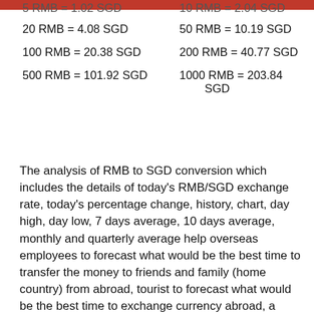5 RMB = 1.02 SGD    10 RMB = 2.04 SGD
20 RMB = 4.08 SGD    50 RMB = 10.19 SGD
100 RMB = 20.38 SGD    200 RMB = 40.77 SGD
500 RMB = 101.92 SGD    1000 RMB = 203.84 SGD
The analysis of RMB to SGD conversion which includes the details of today's RMB/SGD exchange rate, today's percentage change, history, chart, day high, day low, 7 days average, 10 days average, monthly and quarterly average help overseas employees to forecast what would be the best time to transfer the money to friends and family (home country) from abroad, tourist to forecast what would be the best time to exchange currency abroad, a business to forecast what could be the best time to increase the productivity, and the currency traders to forecast what would be the best time to buy or sell currencies.